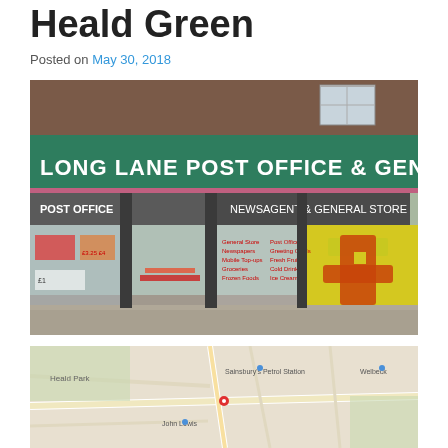Heald Green
Posted on May 30, 2018
[Figure (photo): Exterior photograph of Long Lane Post Office & General Store in Heald Green. Green fascia sign reads 'LONG LANE POST OFFICE & GENERAL STORE'. Below is a grey canopy sign reading 'NEWSAGENT & GENERAL STORE'. Windows display services: General Store, Newspapers, Mobile Top-ups, Groceries, Frozen Foods, Post Office, Greeting Cards, Fresh Fruit, Cold Drinks, Ice Creams. Right side has a yellow mosaic wall with post office logo. Brick building with grey pavement forecourt.]
[Figure (map): Google Maps screenshot showing the area around Long Lane Post Office in Heald Green. Map shows streets, Sainsbury's Petrol Station, John Lewis, Heald Park, and surrounding roads.]